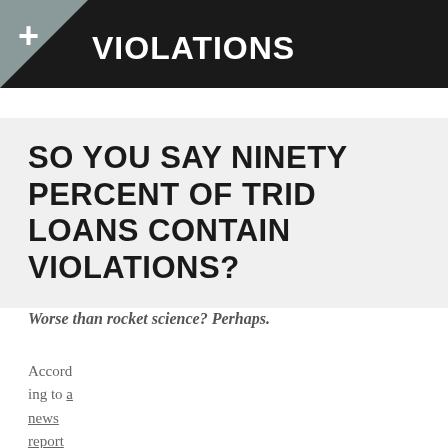VIOLATIONS
SO YOU SAY NINETY PERCENT OF TRID LOANS CONTAIN VIOLATIONS?
Worse than rocket science? Perhaps.
According to a news report from